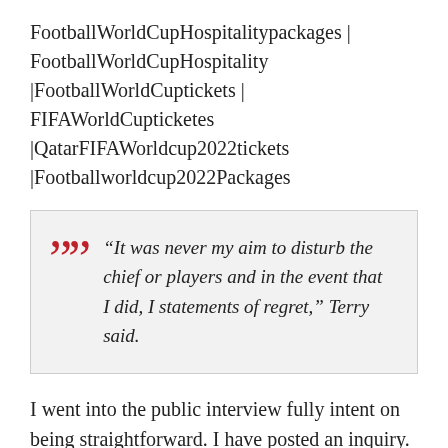FootballWorldCupHospitalitypackages | FootballWorldCupHospitality |FootballWorldCuptickets | FIFAWorldCupticketes |QatarFIFAWorldcup2022tickets |Footballworldcup2022Packages
“It was never my aim to disturb the chief or players and in the event that I did, I statements of regret,” Terry said.
I went into the public interview fully intent on being straightforward. I have posted an inquiry. Perhaps I went excessively far. I have told the director he has my